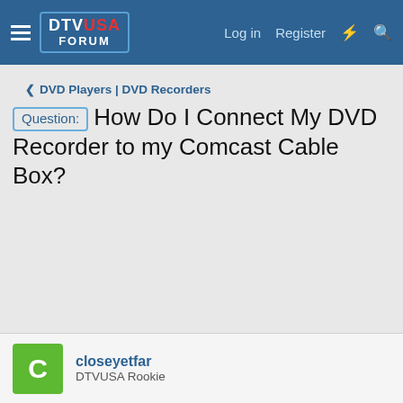DTV USA FORUM — Log in  Register
< DVD Players | DVD Recorders
Question: How Do I Connect My DVD Recorder to my Comcast Cable Box?
closeyetfar
DTVUSA Rookie